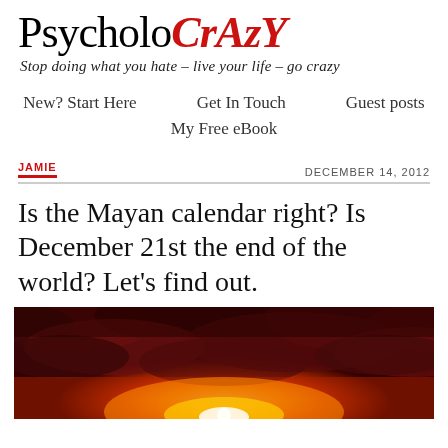PsycholoCrAzY
Stop doing what you hate – live your life – go crazy
New? Start Here   Get In Touch   Guest posts   My Free eBook
JAMIE   DECEMBER 14, 2012
Is the Mayan calendar right? Is December 21st the end of the world? Let's find out.
[Figure (photo): Dramatic red and orange cloudy sky with a bright glowing light (sun) breaking through at the horizon, suggesting apocalyptic or end-of-world imagery.]